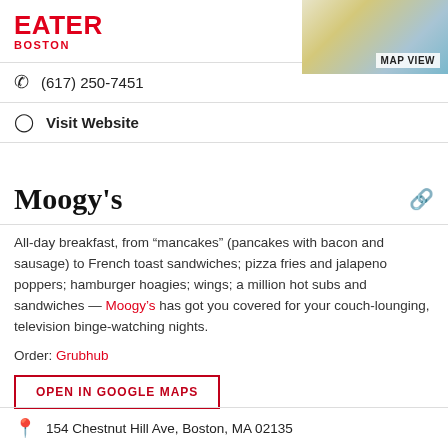EATER BOSTON
(617) 250-7451
Visit Website
Moogy's
All-day breakfast, from “mancakes” (pancakes with bacon and sausage) to French toast sandwiches; pizza fries and jalapeno poppers; hamburger hoagies; wings; a million hot subs and sandwiches — Moogy’s has got you covered for your couch-lounging, television binge-watching nights.
Order: Grubhub
OPEN IN GOOGLE MAPS
154 Chestnut Hill Ave, Boston, MA 02135